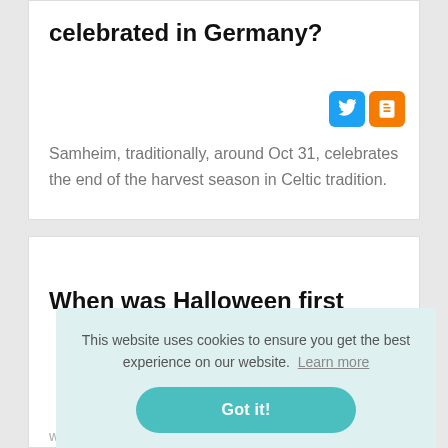celebrated in Germany?
[Figure (logo): Twitter and Blogger social media icon buttons]
Samheim, traditionally, around Oct 31, celebrates the end of the harvest season in Celtic tradition.
When was Halloween first
This website uses cookies to ensure you get the best experience on our website. Learn more
Got it!
was widely celebrated in North America. It